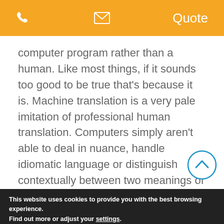📞  ✉  Quote
computer program rather than a human. Like most things, if it sounds too good to be true that's because it is. Machine translation is a very pale imitation of professional human translation. Computers simply aren't able to deal in nuance, handle idiomatic language or distinguish contextually between two meanings of the same word in any consistent or
This website uses cookies to provide you with the best browsing experience.
Find out more or adjust your settings.
Accept